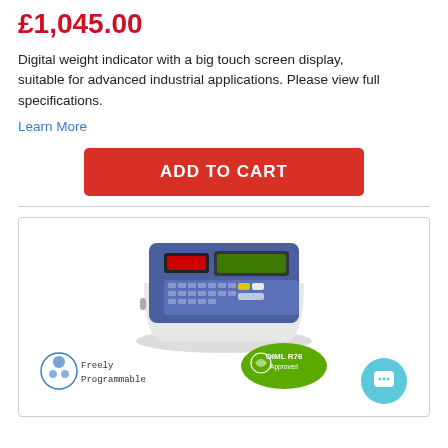£1,045.00
Digital weight indicator with a big touch screen display, suitable for advanced industrial applications. Please view full specifications.
Learn More
ADD TO CART
[Figure (photo): Digital weight indicator device (blue and white hardware unit with touchscreen display and keypad), shown with OIML R76 Approved badge and Freely Programmable badge.]